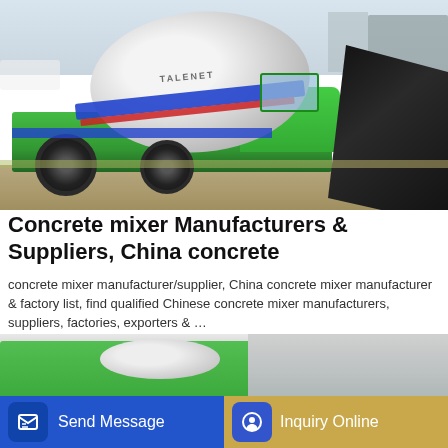[Figure (photo): A green self-loading concrete mixer truck with a white rotating drum, blue and red stripe on the drum, and a large black loading bucket/shovel on the right side. The truck is parked on gravel with buildings visible in the background.]
Concrete mixer Manufacturers & Suppliers, China concrete
concrete mixer manufacturer/supplier, China concrete mixer manufacturer & factory list, find qualified Chinese concrete mixer manufacturers, suppliers, factories, exporters & …
GET A QUOTE
[Figure (photo): Partial view of another concrete mixer truck at the bottom of the page.]
Send Message
Inquiry Online